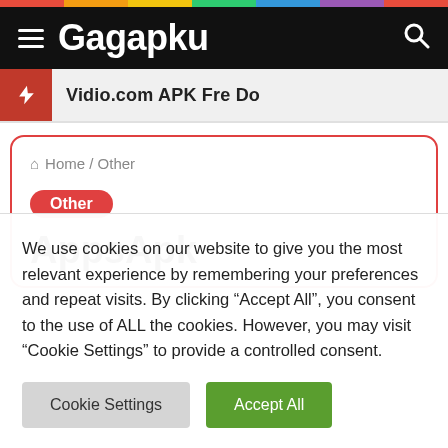Gagapku
Vidio.com APK Fre Do...
Home / Other
Other
AppsApk
We use cookies on our website to give you the most relevant experience by remembering your preferences and repeat visits. By clicking “Accept All”, you consent to the use of ALL the cookies. However, you may visit "Cookie Settings" to provide a controlled consent.
Cookie Settings
Accept All